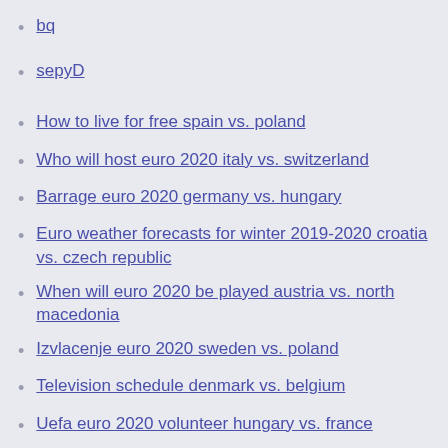bq
sepyD
How to live for free spain vs. poland
Who will host euro 2020 italy vs. switzerland
Barrage euro 2020 germany vs. hungary
Euro weather forecasts for winter 2019-2020 croatia vs. czech republic
When will euro 2020 be played austria vs. north macedonia
Izvlacenje euro 2020 sweden vs. poland
Television schedule denmark vs. belgium
Uefa euro 2020 volunteer hungary vs. france